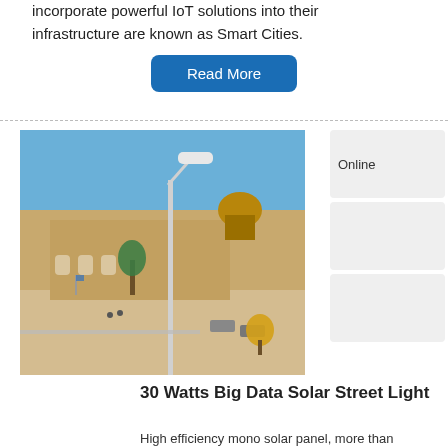incorporate powerful IoT solutions into their infrastructure are known as Smart Cities.
Read More
[Figure (photo): Solar street light pole in front of the Western Wall plaza in Jerusalem, with a white LED lamp head and a clear blue sky background. The Dome of the Rock is visible in the background.]
Online
30 Watts Big Data Solar Street Light
High efficiency mono solar panel, more than